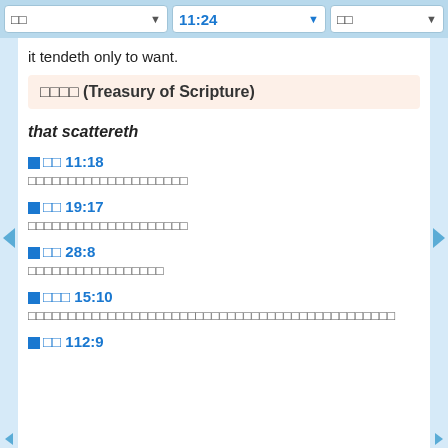□□  11:24  □□
it tendeth only to want.
□□□□ (Treasury of Scripture)
that scattereth
□□ 11:18
□□□□□□□□□□□□□□□□□□□□
□□ 19:17
□□□□□□□□□□□□□□□□□□□□
□□ 28:8
□□□□□□□□□□□□□□□□□
□□□ 15:10
□□□□□□□□□□□□□□□□□□□□□□□□□□□□□□□□□□□□□□□□□□□□□□
□□ 112:9